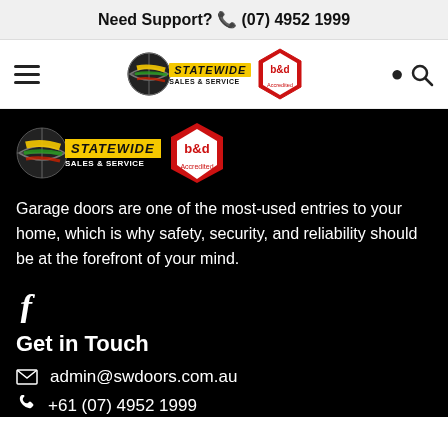Need Support? (07) 4952 1999
[Figure (logo): Statewide Sales & Service logo with globe and yellow banner, plus b&d Accredited diamond badge]
[Figure (logo): Statewide Sales & Service footer logo with globe and yellow banner, plus b&d Accredited diamond badge]
Garage doors are one of the most-used entries to your home, which is why safety, security, and reliability should be at the forefront of your mind.
[Figure (logo): Facebook f icon]
Get in Touch
admin@swdoors.com.au
+61 (07) 4952 1999